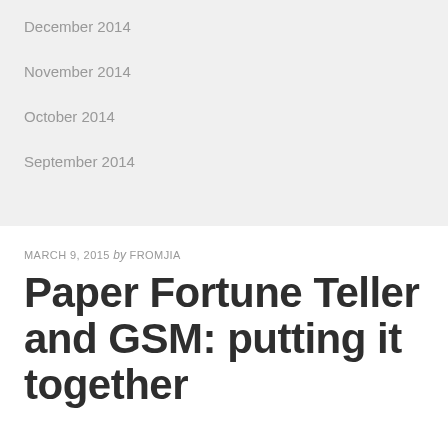December 2014
November 2014
October 2014
September 2014
MARCH 9, 2015 by FROMJIA
Paper Fortune Teller and GSM: putting it together